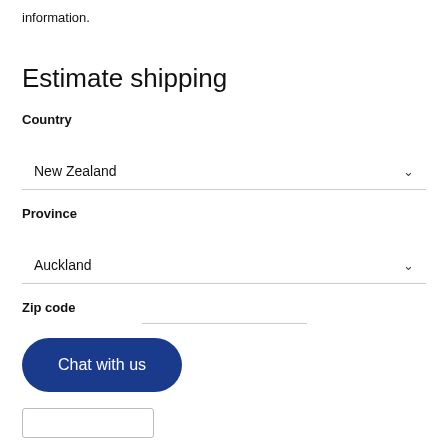information.
Estimate shipping
Country
New Zealand
Province
Auckland
Zip code
Chat with us